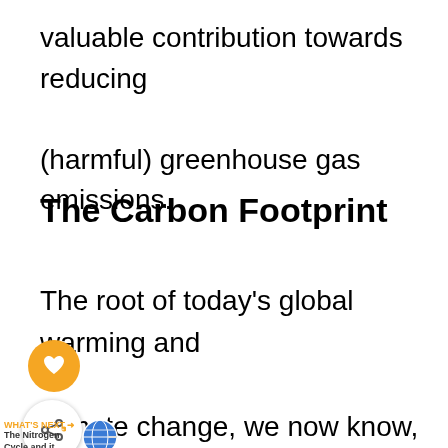valuable contribution towards reducing (harmful) greenhouse gas emissions.
The Carbon Footprint
The root of today's global warming and climate change, we now know, is not the carbon cycle but rather what is now popularly known as the carbon footprint which can also be viewed from its most extreme manifestations right down to the lowest level